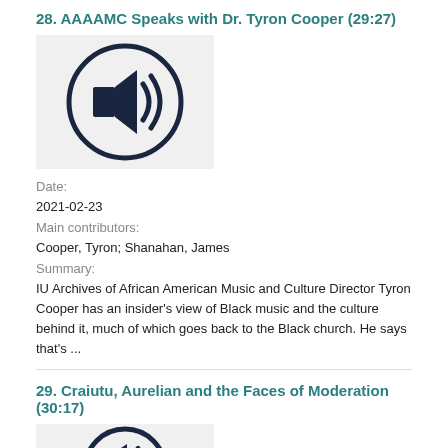28. AAAAMC Speaks with Dr. Tyron Cooper (29:27)
[Figure (illustration): Audio podcast thumbnail with speaker/sound icon on gray background]
Date: 2021-02-23
Main contributors: Cooper, Tyron; Shanahan, James
Summary: IU Archives of African American Music and Culture Director Tyron Cooper has an insider’s view of Black music and the culture behind it, much of which goes back to the Black church. He says that’s ...
29. Craiutu, Aurelian and the Faces of Moderation (30:17)
[Figure (illustration): Audio podcast thumbnail with speaker/sound icon on gray background]